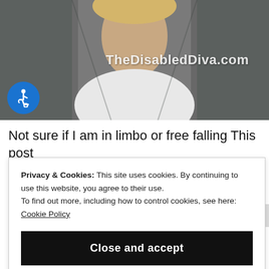[Figure (photo): Photo of a person wearing a white top and gray cardigan, cropped to chest area. Blue circular accessibility/wheelchair icon overlay in lower left. Watermark text 'TheDisabledDiva.com' overlaid on the image.]
Not sure if I am in limbo or free falling This post
Privacy & Cookies: This site uses cookies. By continuing to use this website, you agree to their use.
To find out more, including how to control cookies, see here: Cookie Policy
Close and accept